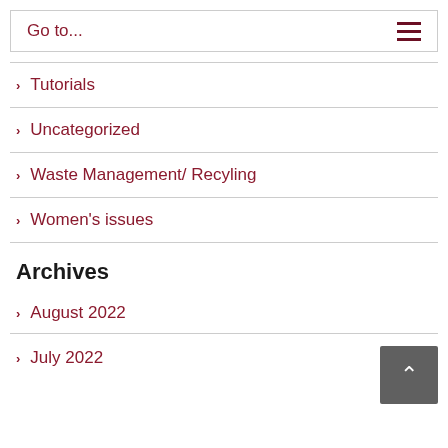Go to...
Tutorials
Uncategorized
Waste Management/ Recyling
Women's issues
Archives
August 2022
July 2022